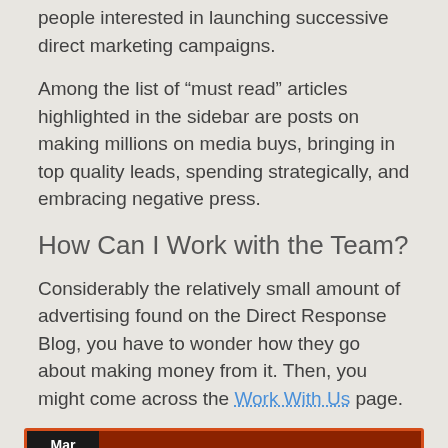people interested in launching successive direct marketing campaigns.
Among the list of “must read” articles highlighted in the sidebar are posts on making millions on media buys, bringing in top quality leads, spending strategically, and embracing negative press.
How Can I Work with the Team?
Considerably the relatively small amount of advertising found on the Direct Response Blog, you have to wonder how they go about making money from it. Then, you might come across the Work With Us page.
[Figure (screenshot): Screenshot of a blog post titled 'Work With Us' dated Mar 08 2011, by Rich, with Comments Off. Shows email: impact@DirectResponse.net]